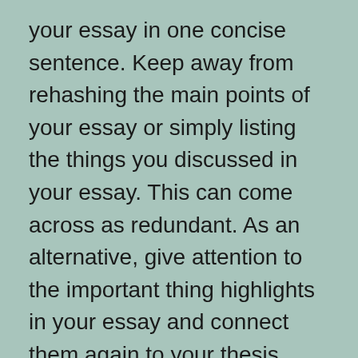your essay in one concise sentence. Keep away from rehashing the main points of your essay or simply listing the things you discussed in your essay. This can come across as redundant. As an alternative, give attention to the important thing highlights in your essay and connect them again to your thesis statement. This manner, you can present that the points discussed in your essay are related to your subject.
Let MyPerfectWords do it for you and provide help to get a remarkable grade. The essay consultants at MyPerfectWords will write your